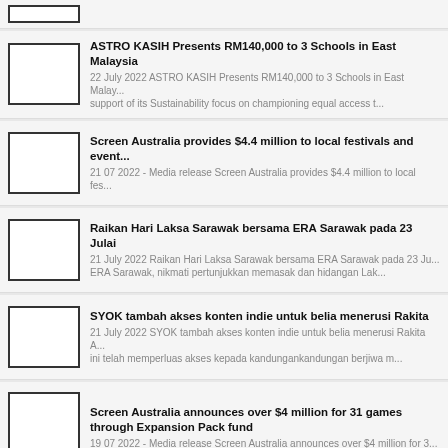ASTRO KASIH Presents RM140,000 to 3 Schools in East Malaysia | 22 July 2022 ASTRO KASIH Presents RM140,000 to 3 Schools in East Malay... support of its Sustainability focus on championing equal access t...
Screen Australia provides $4.4 million to local festivals and event... | 21 07 2022 - Media release Screen Australia provides $4.4 million to local fes...
Raikan Hari Laksa Sarawak bersama ERA Sarawak pada 23 Julai | 21 July 2022 Raikan Hari Laksa Sarawak bersama ERA Sarawak pada 23 Ju... ERA Sarawak, nikmati pertunjukkan memasak dan hidangan Lak...
SYOK tambah akses konten indie untuk belia menerusi Rakita | 21 July 2022 SYOK tambah akses konten indie untuk belia menerusi Rakita A... ini telah memperluas akses kepada kandungankandungan berjiwa m...
Screen Australia announces over $4 million for 31 games through Expansion Pack fund | 19 07 2022 - Media release Screen Australia announces over $4 million for 3...
Production is underway as ABC ME is set to Turn Up The Volume | 18 07 2022 - Media release Production is underway as ABC ME is set to Tur... Elaine King as Ginger, Mira Russo as Breeze, Ayiana Ncube as Jam...
...